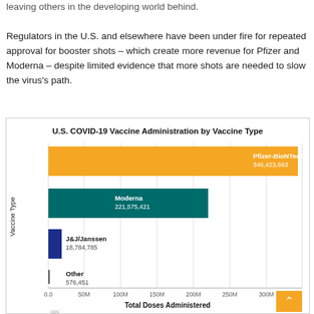leaving others in the developing world behind.

Regulators in the U.S. and elsewhere have been under fire for repeated approval for booster shots – which create more revenue for Pfizer and Moderna – despite limited evidence that more shots are needed to slow the virus's path.
[Figure (bar-chart): U.S. COVID-19 Vaccine Administration by Vaccine Type]